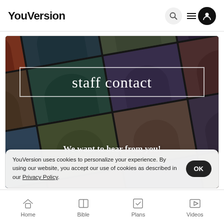YouVersion
[Figure (screenshot): Staff contact page hero image showing a grid of video call participants at an angle, with a white-bordered box containing 'staff contact' text and 'We want to hear from you!' below]
YouVersion uses cookies to personalize your experience. By using our website, you accept our use of cookies as described in our Privacy Policy.
Home  Bible  Plans  Videos